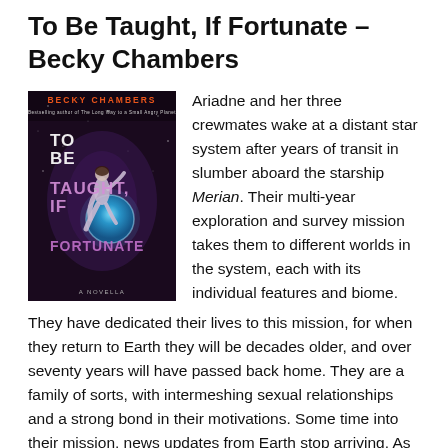To Be Taught, If Fortunate – Becky Chambers
[Figure (illustration): Book cover for 'To Be Taught, If Fortunate' by Becky Chambers. Dark space background with a person floating/running, holding a glowing blue planet. Author name 'BECKY CHAMBERS' in orange at top, title in white/purple text in large letters, subtitle 'A NOVELLA' at bottom.]
Ariadne and her three crewmates wake at a distant star system after years of transit in slumber aboard the starship Merian. Their multi-year exploration and survey mission takes them to different worlds in the system, each with its individual features and biome. They have dedicated their lives to this mission, for when they return to Earth they will be decades older, and over seventy years will have passed back home. They are a family of sorts, with intermeshing sexual relationships and a strong bond in their motivations. Some time into their mission, news updates from Earth stop arriving. As they are left in limbo, Ariadne